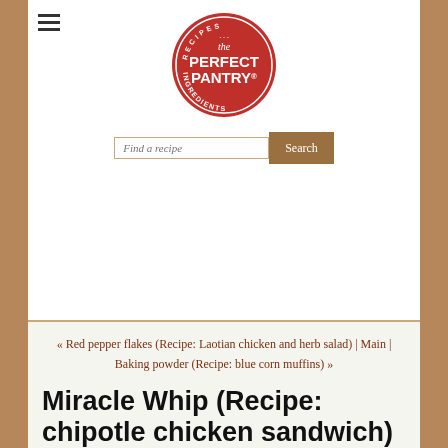[Figure (logo): The Perfect Pantry logo - circular red badge with white text reading RECIPES, the, PERFECT PANTRY®, INGREDIENTS]
[Figure (other): Search bar with placeholder text 'Find a recipe' and a brown Search button]
« Red pepper flakes (Recipe: Laotian chicken and herb salad) | Main | Baking powder (Recipe: blue corn muffins) »
Miracle Whip (Recipe: chipotle chicken sandwich)
[Figure (infographic): Social share buttons: Pin (Pinterest, red), Share (Facebook, blue), Share (ShareThis, green)]
[Figure (photo): Food photograph at bottom of page, partially visible, showing chipotle chicken sandwich]